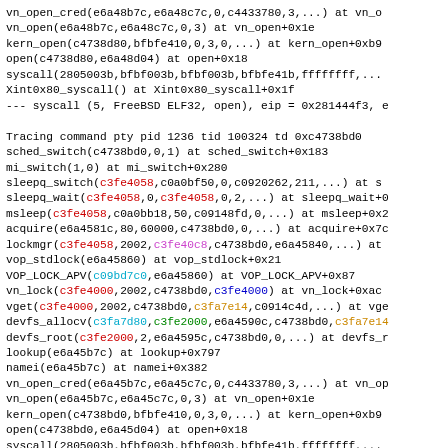Stack trace output showing kernel function calls with colored memory addresses for a FreeBSD system tracing session.